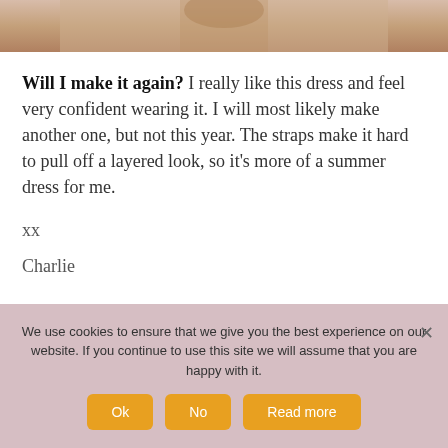[Figure (photo): Partial photo of a person wearing a dress, cropped at the top of the page]
Will I make it again? I really like this dress and feel very confident wearing it. I will most likely make another one, but not this year. The straps make it hard to pull off a layered look, so it's more of a summer dress for me.
xx
Charlie
We use cookies to ensure that we give you the best experience on our website. If you continue to use this site we will assume that you are happy with it.